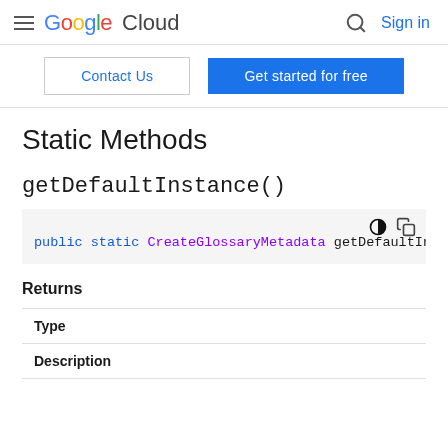Google Cloud — Sign in
Contact Us | Get started for free
Static Methods
getDefaultInstance()
public static CreateGlossaryMetadata getDefaultIn
Returns
| Type | Description |
| --- | --- |